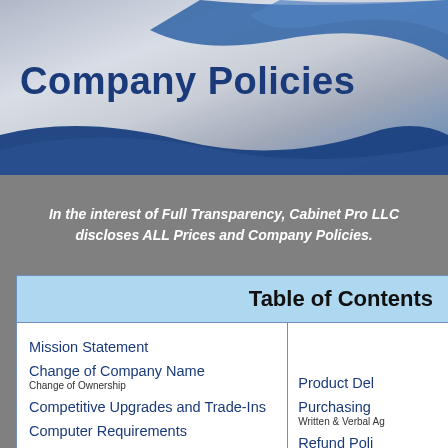[Figure (illustration): Blue and silver decorative banner with wave shapes]
Company Policies
In the interest of Full Transparency, Cabinet Pro LLC discloses ALL Prices and Company Policies.
| Table of Contents |  |
| --- | --- |
| Mission Statement |  |
| Change of Company Name
Change of Ownership | Product Del... |
| Competitive Upgrades and Trade-Ins | Purchasing...
Written & Verbal Ag... |
| Computer Requirements | Refund Poli... |